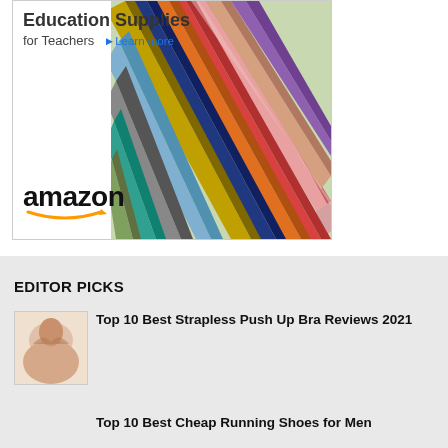[Figure (advertisement): Amazon Education Supplies for Teachers advertisement with colored pencils image and Amazon logo]
EDITOR PICKS
[Figure (photo): Thumbnail image of a strapless push up bra product]
Top 10 Best Strapless Push Up Bra Reviews 2021
Top 10 Best Cheap Running Shoes for Men